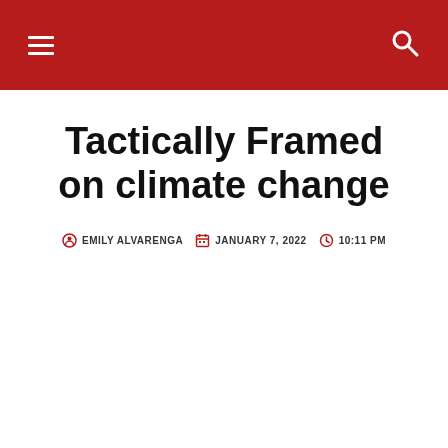navigation bar with hamburger menu and search icon
Tactically Framed on climate change
EMILY ALVARENGA   JANUARY 7, 2022   10:11 PM